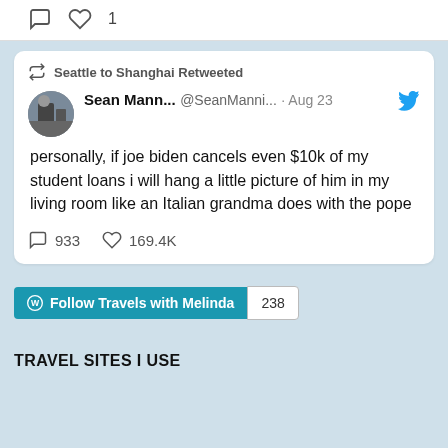[Figure (screenshot): Top bar with comment icon and heart icon showing 1 like]
[Figure (screenshot): Tweet card: Seattle to Shanghai Retweeted. Sean Mann... @SeanManni... · Aug 23. Tweet text: 'personally, if joe biden cancels even $10k of my student loans i will hang a little picture of him in my living room like an Italian grandma does with the pope'. 933 comments, 169.4K likes.]
[Figure (screenshot): Follow Travels with Melinda button with count 238]
TRAVEL SITES I USE